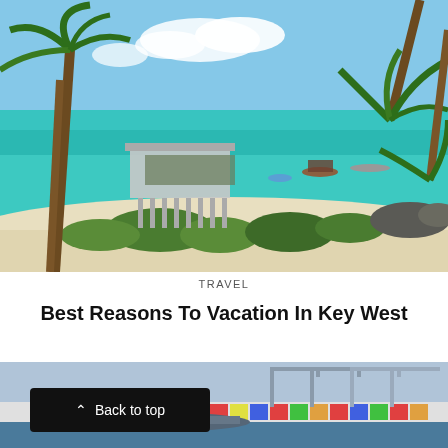[Figure (photo): Tropical beach scene with palm trees, turquoise water, white sand beach, overwater bungalow structure on stilts, and boats anchored in calm bay under blue sky with clouds]
TRAVEL
Best Reasons To Vacation In Key West
[Figure (photo): Aerial view of busy port/harbor with shipping cranes, colorful cargo containers stacked in rows, and industrial port infrastructure]
Back to top